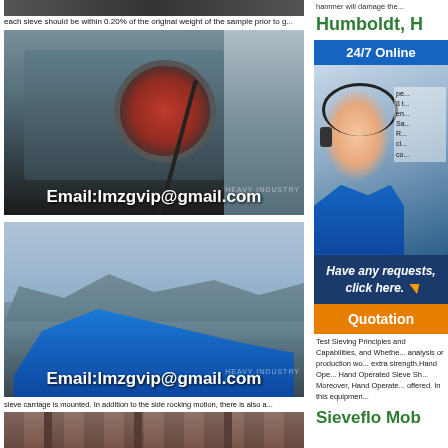[Figure (photo): Industrial jaw crusher machine with red flywheel, with text Email:lmzgvip@gmail.com overlay]
[Figure (photo): Blue industrial conveyor/screening machine in open field, with text Email:lmzgvip@gmail.com overlay]
[Figure (photo): Partial interior industrial building photo at bottom]
each sieve should be within 0.20% of the original weight of the sample prior to g...
Humboldt, H
24/7 Online
Have any requests, click here.
Quotation
Test Sieving Principles and Capabilities, and Whether analysis or production wo... extra strength.Hand Ope... Hand Operated Sieve Sh... Moreover, Hand Operate... offered. In this equipmen...
sieve carriage is mounted. In addition to the side rocking motion, there is also a...
Sieveflo Mob